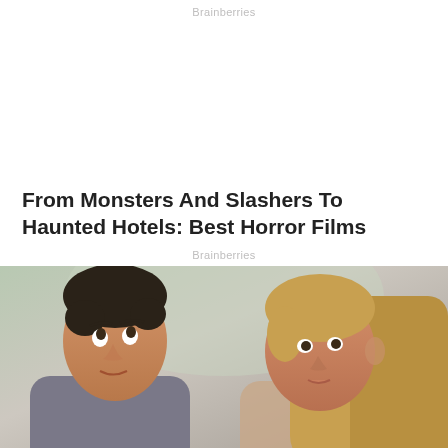Brainberries
[Figure (other): Advertisement/blank space]
From Monsters And Slashers To Haunted Hotels: Best Horror Films
Brainberries
[Figure (photo): Photo of a man with dark hair looking upward with a surprised expression, and a woman with long brown hair beside him, appearing to be from a TV show or movie scene]